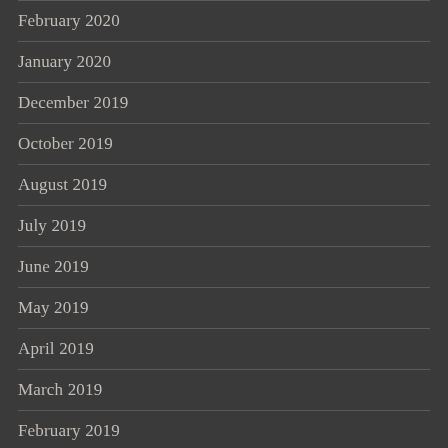February 2020
January 2020
December 2019
October 2019
August 2019
July 2019
June 2019
May 2019
April 2019
March 2019
February 2019
January 2019
December 2018